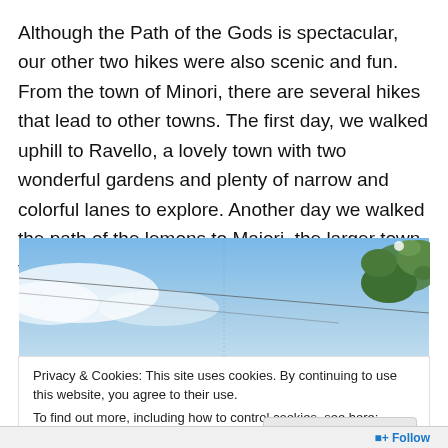Although the Path of the Gods is spectacular, our other two hikes were also scenic and fun. From the town of Minori, there are several hikes that lead to other towns. The first day, we walked uphill to Ravello, a lovely town with two wonderful gardens and plenty of narrow and colorful lanes to explore. Another day we walked the path of the lemons to Maiori, the larger town to our south.
[Figure (photo): Outdoor photograph showing a blue sky with some white clouds and a tree with green leaves in the upper right corner, along with power lines or cables visible.]
Privacy & Cookies: This site uses cookies. By continuing to use this website, you agree to their use.
To find out more, including how to control cookies, see here: Cookie Policy
Close and accept
Follow